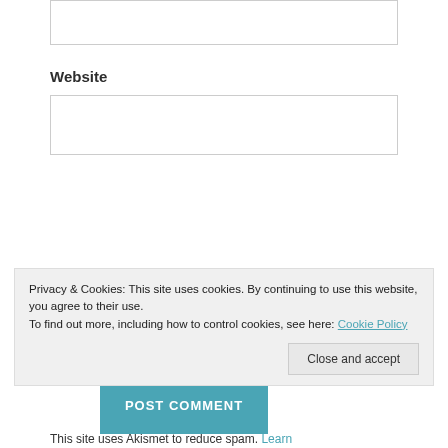[Figure (screenshot): Top portion of a text input box (partially visible at top of page)]
Website
[Figure (screenshot): Website text input field (empty)]
[Figure (screenshot): POST COMMENT button in teal/turquoise color]
Privacy & Cookies: This site uses cookies. By continuing to use this website, you agree to their use.
To find out more, including how to control cookies, see here: Cookie Policy
Close and accept
This site uses Akismet to reduce spam. Learn